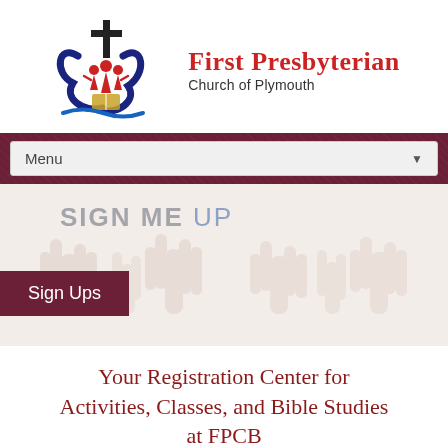[Figure (logo): First Presbyterian Church of Plymouth logo with cross, heart, and people figures in navy and red]
First Presbyterian
Church of Plymouth
[Figure (screenshot): Navigation menu bar with dark maroon/wine background and a dropdown select showing 'Menu' with a down arrow]
[Figure (photo): Banner image showing raised hands against a light background with 'SIGN ME UP' text overlay and a 'Sign Ups' button]
Your Registration Center for Activities, Classes, and Bible Studies at FPCB